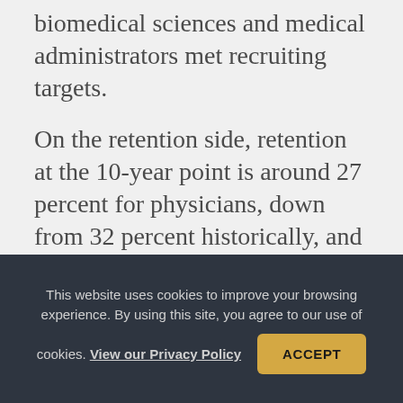biomedical sciences and medical administrators met recruiting targets.
On the retention side, retention at the 10-year point is around 27 percent for physicians, down from 32 percent historically, and 37 percent for nurses, down from the 44 percent historical average.
Other specialties have seen some small retention increases, with
This website uses cookies to improve your browsing experience. By using this site, you agree to our use of cookies. View our Privacy Policy ACCEPT